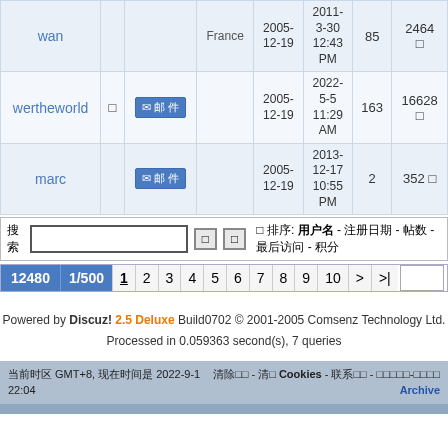| 用户名 |  |  | 国家 | 注册日期 | 最后访问 | 帖数 | 积分 |
| --- | --- | --- | --- | --- | --- | --- | --- |
| wan |  |  | France | 2005-12-19 | 2011-3-30 12:43 PM | 85 | 2464 □ |
| wertheworld | □ | ✉邮件 |  | 2005-12-19 | 2022-5-5 11:29 AM | 163 | 16628 □ |
| marc |  | ✉邮件 |  | 2005-12-19 | 2013-12-17 10:55 PM | 2 | 352 □ |
搜索 □ □ 排序: 用户名 - 注册日期 - 帖数 - 最后访问 - 积分
12480 1/500 1 2 3 4 5 6 7 8 9 10 > >|
Powered by Discuz! 2.5 Deluxe Build0702 © 2001-2005 Comsenz Technology Ltd. Processed in 0.059363 second(s), 7 queries
当前时区 GMT+8, 现在时间是 2022-9-1 22:04  清除 Cookies - 联系我们 - Archive